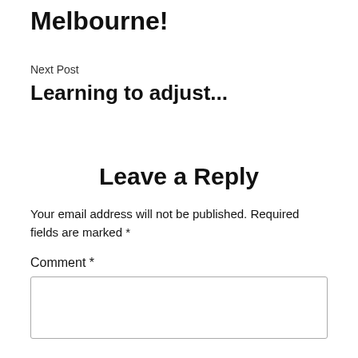Melbourne!
Next Post
Learning to adjust...
Leave a Reply
Your email address will not be published. Required fields are marked *
Comment *